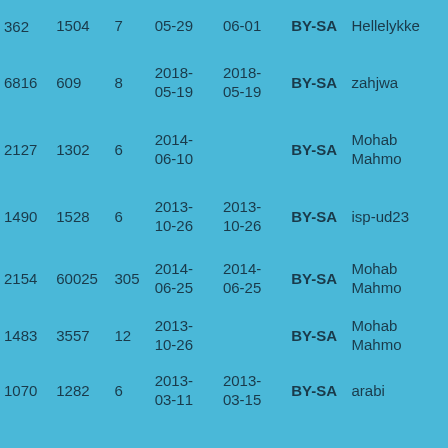| 362 | 1504 | 7 | 05-29 | 06-01 | BY-SA | Hellelykke |
| 6816 | 609 | 8 | 2018-05-19 | 2018-05-19 | BY-SA | zahjwa |
| 2127 | 1302 | 6 | 2014-06-10 |  | BY-SA | Mohab Mahmo |
| 1490 | 1528 | 6 | 2013-10-26 | 2013-10-26 | BY-SA | isp-ud23 |
| 2154 | 60025 | 305 | 2014-06-25 | 2014-06-25 | BY-SA | Mohab Mahmo |
| 1483 | 3557 | 12 | 2013-10-26 |  | BY-SA | Mohab Mahmo |
| 1070 | 1282 | 6 | 2013-03-11 | 2013-03-15 | BY-SA | arabi |